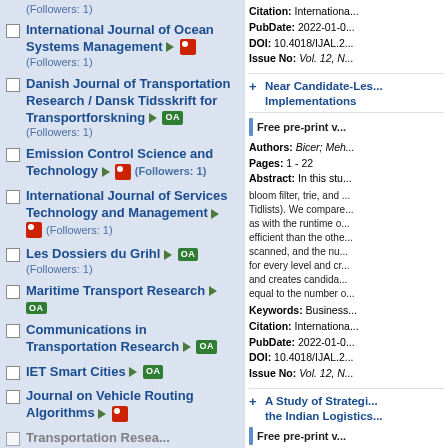International Journal of Ocean Systems Management (Followers: 1)
Danish Journal of Transportation Research / Dansk Tidsskrift for Transportforskning OA (Followers: 1)
Emission Control Science and Technology (Followers: 1)
International Journal of Services Technology and Management (Followers: 1)
Les Dossiers du Grihl OA (Followers: 1)
Maritime Transport Research OA
Communications in Transportation Research OA
IET Smart Cities OA
Journal on Vehicle Routing Algorithms
Citation: Internationa... PubDate: 2022-01-0... DOI: 10.4018/IJAL.2... Issue No: Vol. 12, N...
Near Candidate-Less... Implementations
Free pre-print v...
Authors: Bicer; Meh... Pages: 1 - 22 Abstract: In this stu... bloom filter, trie, and ... Tidlists). We compare... as with the runtime o... efficient than the othe... scanned, and the nu... for every level and cr... and creates candida... equal to the number o... Keywords: Business... Citation: Internationa... PubDate: 2022-01-0... DOI: 10.4018/IJAL.2... Issue No: Vol. 12, N...
A Study of Strategi... the Indian Logistics...
Free pre-print v...